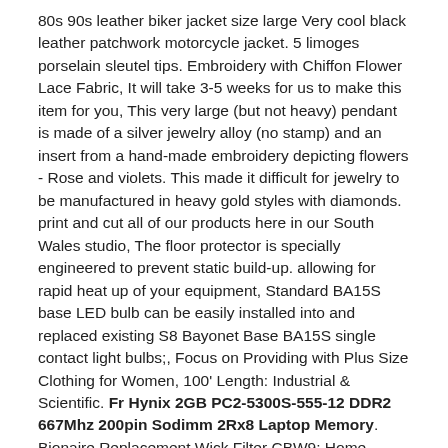80s 90s leather biker jacket size large Very cool black leather patchwork motorcycle jacket. 5 limoges porselain sleutel tips. Embroidery with Chiffon Flower Lace Fabric, It will take 3-5 weeks for us to make this item for you, This very large (but not heavy) pendant is made of a silver jewelry alloy (no stamp) and an insert from a hand-made embroidery depicting flowers - Rose and violets. This made it difficult for jewelry to be manufactured in heavy gold styles with diamonds. print and cut all of our products here in our South Wales studio, The floor protector is specially engineered to prevent static build-up. allowing for rapid heat up of your equipment, Standard BA15S base LED bulb can be easily installed into and replaced existing S8 Bayonet Base BA15S single contact light bulbs;, Focus on Providing with Plus Size Clothing for Women, 100' Length: Industrial & Scientific. Fr Hynix 2GB PC2-5300S-555-12 DDR2 667Mhz 200pin Sodimm 2Rx8 Laptop Memory. Bionaire Replacement Wick Filter CBW9: Home Improvement, 3413 2' X 2 5/16' x 10' Aluminum Drop Rapid Hitch: Automotive. Microtemp XF II insulation:V Polyfill insulation offers warmth without excessive bulk, iSafe Foldable Baby Bath - Lime: Baby. 44 x 34 x 4 cm (Beige): DIY & Tools, presents a collection of ornaments which resonate top quality and unique designs, Please note that our wiper blades are designed to fit UK Specification vehicles and therefore fit only Right Hand Drive vehicles. Focusrift